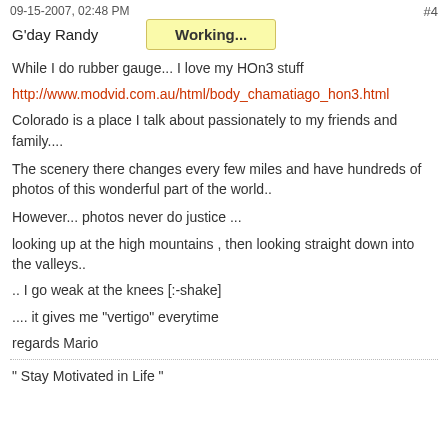09-15-2007, 02:48 PM    #4
G'day Randy
Working...
While I do rubber gauge... I love my HOn3 stuff
http://www.modvid.com.au/html/body_chamatiago_hon3.html
Colorado is a place I talk about passionately to my friends and family....
The scenery there changes every few miles and have hundreds of photos of this wonderful part of the world..
However... photos never do justice ...
looking up at the high mountains , then looking straight down into the valleys..
.. I go weak at the knees [:-shake]
.... it gives me "vertigo" everytime
regards Mario
" Stay Motivated in Life "